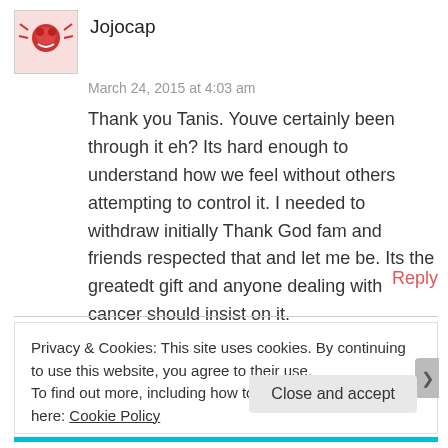Jojocap
March 24, 2015 at 4:03 am
Thank you Tanis. Youve certainly been through it eh? Its hard enough to understand how we feel without others attempting to control it. I needed to withdraw initially Thank God fam and friends respected that and let me be. Its the greatedt gift and anyone dealing with cancer should insist on it.
Reply
Privacy & Cookies: This site uses cookies. By continuing to use this website, you agree to their use.
To find out more, including how to control cookies, see here: Cookie Policy
Close and accept